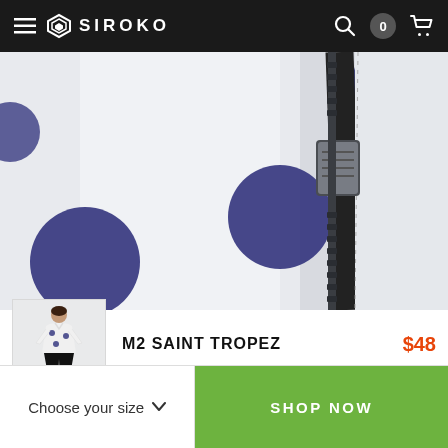SIROKO
[Figure (photo): Close-up photo of a white cycling jersey with navy blue polka dots and a zipper detail visible on the right side.]
[Figure (photo): Small thumbnail of a woman wearing the M2 Saint Tropez cycling jersey, white with polka dots, paired with black pants.]
M2 SAINT TROPEZ
$48
Choose your size
SHOP NOW